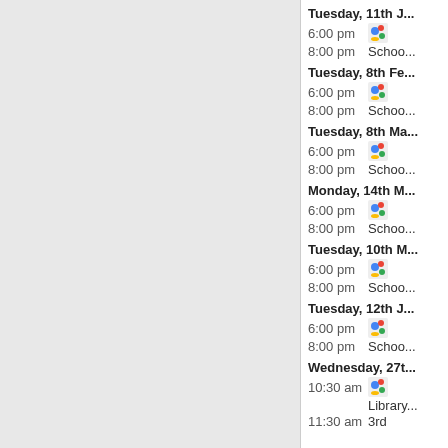[Figure (other): Gray left panel area]
Tuesday, 11th [truncated] - 6:00 pm [icon] | 8:00 pm Schoo...
Tuesday, 8th Fe... - 6:00 pm [icon] | 8:00 pm Schoo...
Tuesday, 8th Ma... - 6:00 pm [icon] | 8:00 pm Schoo...
Monday, 14th M... - 6:00 pm [icon] | 8:00 pm Schoo...
Tuesday, 10th M... - 6:00 pm [icon] | 8:00 pm Schoo...
Tuesday, 12th J... - 6:00 pm [icon] | 8:00 pm Schoo...
Wednesday, 27t... - 10:30 am [icon] Library... | 11:30 am 3rd